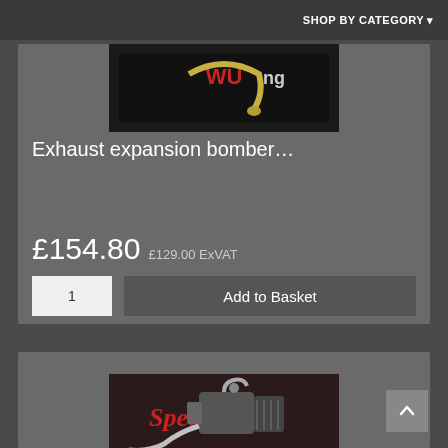SHOP BY CATEGORY ▾
[Figure (photo): Exhaust expansion bomber product image showing exhaust pipe with logo]
Exhaust expansion bomber…
£154.80  £129.00 ExVAT
1  Add to Basket
[Figure (photo): Engine/motor product photo showing a go-kart or small engine with exhaust and carburettor, with Speedway branded background]